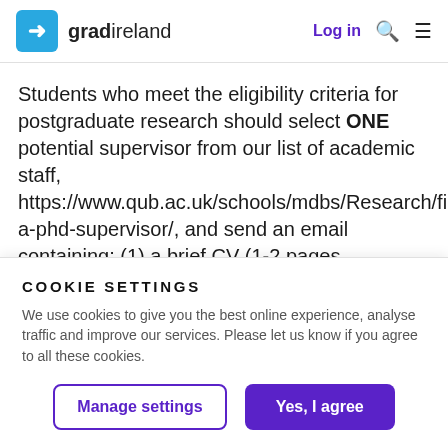gradireland — Log in
Students who meet the eligibility criteria for postgraduate research should select ONE potential supervisor from our list of academic staff, https://www.qub.ac.uk/schools/mdbs/Research/find-a-phd-supervisor/, and send an email containing: (1) a brief CV (1-2 pages maximum), (2) a concise statement of motivation including research
COOKIE SETTINGS
We use cookies to give you the best online experience, analyse traffic and improve our services. Please let us know if you agree to all these cookies.
Manage settings | Yes, I agree